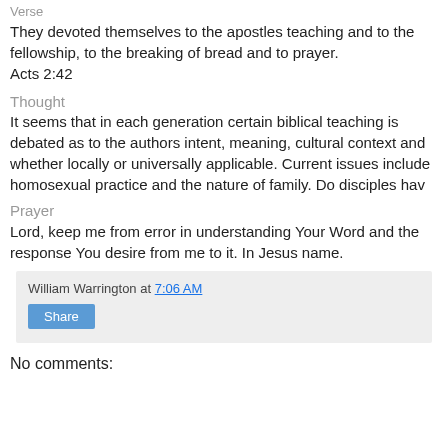Verse
They devoted themselves to the apostles teaching and to the fellowship, to the breaking of bread and to prayer.
Acts 2:42
Thought
It seems that in each generation certain biblical teaching is debated as to the authors intent, meaning, cultural context and whether locally or universally applicable. Current issues include homosexual practice and the nature of family. Do disciples hav
Prayer
Lord, keep me from error in understanding Your Word and the response You desire from me to it. In Jesus name.
William Warrington at 7:06 AM
No comments: